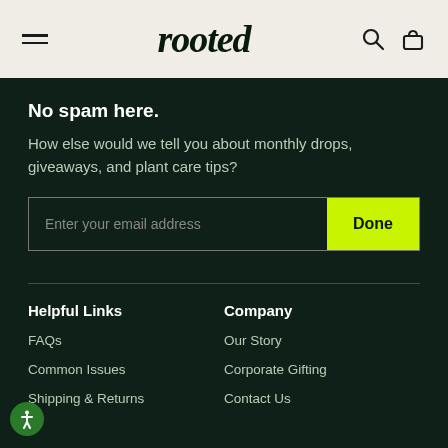rooted
No spam here.
How else would we tell you about monthly drops, giveaways, and plant care tips?
Enter your email address | Done
Helpful Links
Company
FAQs
Our Story
Common Issues
Corporate Gifting
Shipping & Returns
Contact Us